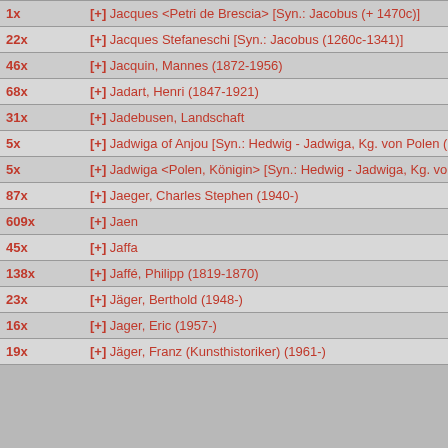| 1x | [+] Jacques <Petri de Brescia> [Syn.: Jacobus (+ 1470c)] |
| 22x | [+] Jacques Stefaneschi [Syn.: Jacobus (1260c-1341)] |
| 46x | [+] Jacquin, Mannes (1872-1956) |
| 68x | [+] Jadart, Henri (1847-1921) |
| 31x | [+] Jadebusen, Landschaft |
| 5x | [+] Jadwiga of Anjou [Syn.: Hedwig - Jadwiga, Kg. von Polen (1 |
| 5x | [+] Jadwiga <Polen, Königin> [Syn.: Hedwig - Jadwiga, Kg. von |
| 87x | [+] Jaeger, Charles Stephen (1940-) |
| 609x | [+] Jaen |
| 45x | [+] Jaffa |
| 138x | [+] Jaffé, Philipp (1819-1870) |
| 23x | [+] Jäger, Berthold (1948-) |
| 16x | [+] Jager, Eric (1957-) |
| 19x | [+] Jäger, Franz (Kunsthistoriker) (1961-) |